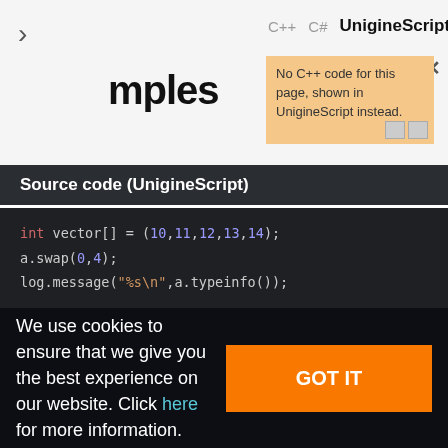mples
C++  C#  UnigineScript
No C++ code for this page, shown in UnigineScript instead.
Source code (UnigineScript)
int vector[] = (10,11,12,13,14);
a.swap(0,4);
log.message("%s\n",a.typeinfo());

int map[] = (0:5,1:6,2:7,3:8,4:9);
b.swap(0,4);
log.message("%s\n",b.typeinfo());
We use cookies to ensure that we give you the best experience on our website. Click here for more information.